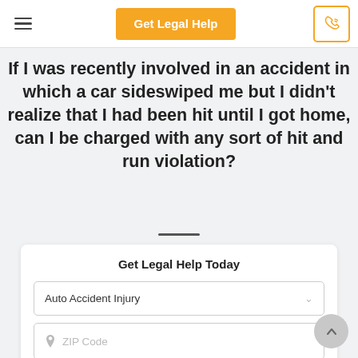Get Legal Help
If I was recently involved in an accident in which a car sideswiped me but I didn't realize that I had been hit until I got home, can I be charged with any sort of hit and run violation?
Get Legal Help Today
Auto Accident Injury
ZIP Code